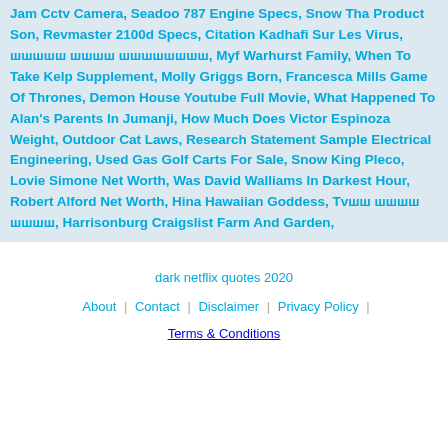Jam Cctv Camera, Seadoo 787 Engine Specs, Snow Tha Product Son, Revmaster 2100d Specs, Citation Kadhafi Sur Les Virus, шшшшш шшшш шшшшшшшш, Myf Warhurst Family, When To Take Kelp Supplement, Molly Griggs Born, Francesca Mills Game Of Thrones, Demon House Youtube Full Movie, What Happened To Alan's Parents In Jumanji, How Much Does Victor Espinoza Weight, Outdoor Cat Laws, Research Statement Sample Electrical Engineering, Used Gas Golf Carts For Sale, Snow King Pleco, Lovie Simone Net Worth, Was David Walliams In Darkest Hour, Robert Alford Net Worth, Hina Hawaiian Goddess, Tvшш шшшш шшшш, Harrisonburg Craigslist Farm And Garden,
dark netflix quotes 2020
About | Contact | Disclaimer | Privacy Policy | Terms & Conditions